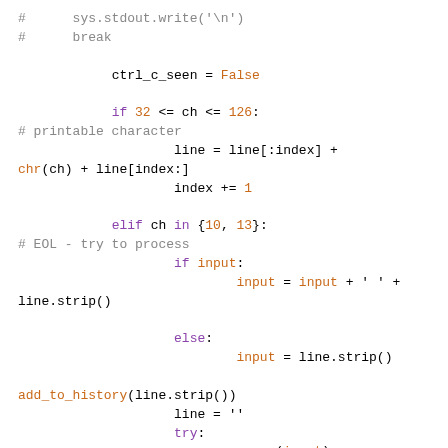#      sys.stdout.write('\n')
#      break

            ctrl_c_seen = False

            if 32 <= ch <= 126:
# printable character
                    line = line[:index] +
chr(ch) + line[index:]
                    index += 1

            elif ch in {10, 13}:
# EOL - try to process
                    if input:
                            input = input + ' ' +
line.strip()

                    else:
                            input = line.strip()

add_to_history(line.strip())
                    line = ''
                    try:
                        x = parse(input)